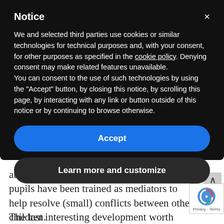Notice
We and selected third parties use cookies or similar technologies for technical purposes and, with your consent, for other purposes as specified in the cookie policy. Denying consent may make related features unavailable.
You can consent to the use of such technologies by using the “Accept” button, by closing this notice, by scrolling this page, by interacting with any link or button outside of this notice or by continuing to browse otherwise.
Accept
Learn more and customize
atmosphere, and handling conflicts. Older pupils have been trained as mediators to help resolve (small) conflicts between other children.
The last interesting development worth mentioning is